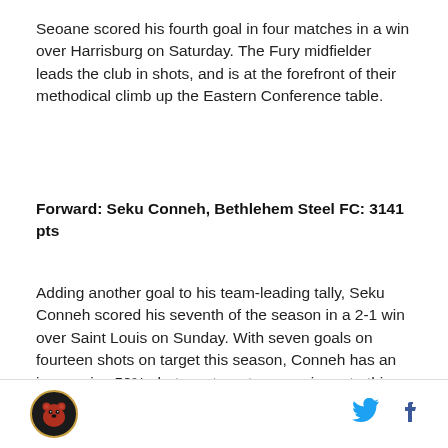Seoane scored his fourth goal in four matches in a win over Harrisburg on Saturday. The Fury midfielder leads the club in shots, and is at the forefront of their methodical climb up the Eastern Conference table.
Forward: Seku Conneh, Bethlehem Steel FC: 3141 pts
Adding another goal to his team-leading tally, Seku Conneh scored his seventh of the season in a 2-1 win over Saint Louis on Sunday. With seven goals on fourteen shots on target this season, Conneh has an impressive 50% shots on target conversion rate this season.
[Figure (logo): Fury FC bear logo — circular badge with bear head on dark background]